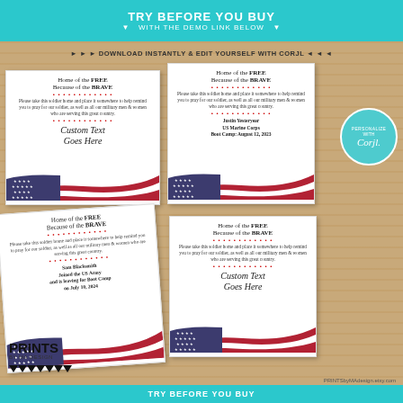TRY BEFORE YOU BUY ▼ WITH THE DEMO LINK BELOW ▼
► ► ► DOWNLOAD INSTANTLY & EDIT YOURSELF WITH CORJL ◄ ◄ ◄
[Figure (illustration): Four patriotic prayer cards with American flag waving graphic at the bottom. Top-left card shows 'Custom Text Goes Here'. Top-right card shows 'Justin Yesteryear / US Marine Corps / Boot Camp: August 12, 2023'. Bottom-left card shows 'Sam Blacksmith / Joined the US Army / and is leaving for Boot Camp / on July 10, 2024'. Bottom-right card shows 'Custom Text Goes Here'. All cards read 'Home of the FREE Because of the BRAVE' at top with red dot border and body text about praying for soldiers.]
TRY BEFORE YOU BUY